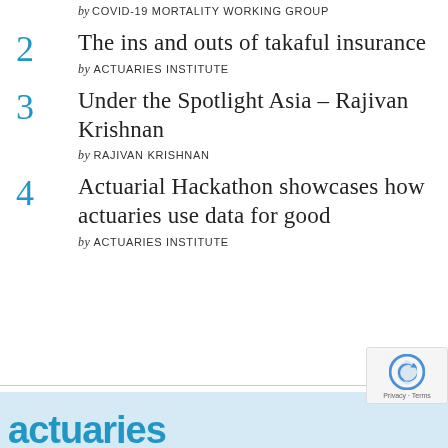by COVID-19 MORTALITY WORKING GROUP
2 The ins and outs of takaful insurance
by ACTUARIES INSTITUTE
3 Under the Spotlight Asia – Rajivan Krishnan
by RAJIVAN KRISHNAN
4 Actuarial Hackathon showcases how actuaries use data for good
by ACTUARIES INSTITUTE
Loading [MathJax]/extensions/MathMenu.js
[Figure (logo): Actuaries Institute logo text in blue at bottom of page]